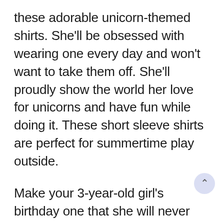these adorable unicorn-themed shirts. She'll be obsessed with wearing one every day and won't want to take them off. She'll proudly show the world her love for unicorns and have fun while doing it. These short sleeve shirts are perfect for summertime play outside.
Make your 3-year-old girl's birthday one that she will never forget with this awesome bright pink scooter! It comes with a removable flip-out seat and foot pad so she can easily scoot around sitting up or standing stand. It's also super lightweight and portable so you can take it along on your next road trip or visit the park without any added hassle. The wheels ligh…, making it some added fun while your tot plays.